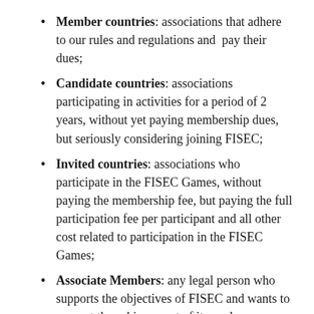Member countries: associations that adhere to our rules and regulations and pay their dues;
Candidate countries: associations participating in activities for a period of 2 years, without yet paying membership dues, but seriously considering joining FISEC;
Invited countries: associations who participate in the FISEC Games, without paying the membership fee, but paying the full participation fee per participant and all other cost related to participation in the FISEC Games;
Associate Members: any legal person who supports the objectives of FISEC and wants to support the achievement of its goals